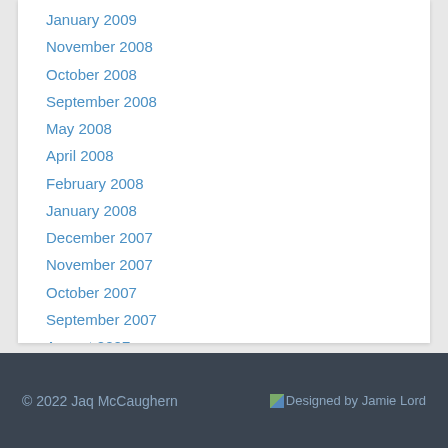January 2009
November 2008
October 2008
September 2008
May 2008
April 2008
February 2008
January 2008
December 2007
November 2007
October 2007
September 2007
August 2007
July 2007
© 2022 Jaq McCaughern   Designed by Jamie Lord